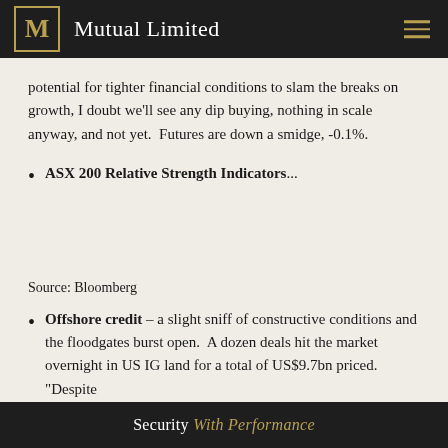Mutual Limited
potential for tighter financial conditions to slam the breaks on growth, I doubt we’ll see any dip buying, nothing in scale anyway, and not yet.  Futures are down a smidge, -0.1%.
ASX 200 Relative Strength Indicators...
Source: Bloomberg
Offshore credit – a slight sniff of constructive conditions and the floodgates burst open.  A dozen deals hit the market overnight in US IG land for a total of US$9.7bn priced.  “Despite
Security With Performance